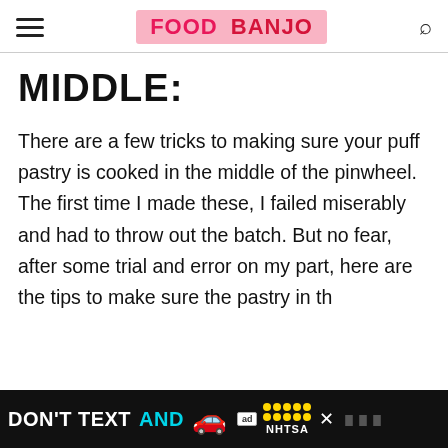FOOD BANJO
MIDDLE:
There are a few tricks to making sure your puff pastry is cooked in the middle of the pinwheel. The first time I made these, I failed miserably and had to throw out the batch. But no fear, after some trial and error on my part, here are the tips to make sure the pastry in the bottom of the pinwheel is cooked.
[Figure (other): Advertisement banner at bottom: DON'T TEXT AND [car emoji] ad badge NHTSA logo with yellow stars, close button, and icons]